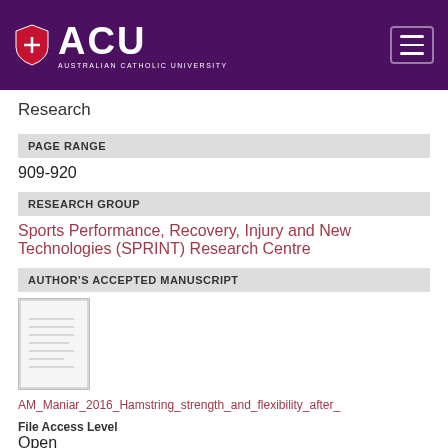[Figure (logo): ACU Australian Catholic University logo with shield and hamburger menu button on purple background]
Research
| PAGE RANGE |
| --- |
| 909-920 |
| RESEARCH GROUP |
| --- |
| Sports Performance, Recovery, Injury and New Technologies (SPRINT) Research Centre |
| AUTHOR'S ACCEPTED MANUSCRIPT |
| --- |
|  |
[Figure (screenshot): Thumbnail of manuscript document]
AM_Maniar_2016_Hamstring_strength_and_flexibility_after_
File Access Level
Open